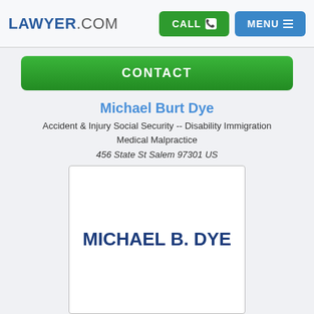LAWYER.COM
CONTACT
Michael Burt Dye
Accident & Injury Social Security -- Disability Immigration Medical Malpractice
456 State St Salem 97301 US
[Figure (other): Photo placeholder showing MICHAEL B. DYE text in large dark blue bold font on white background]
CONTACT